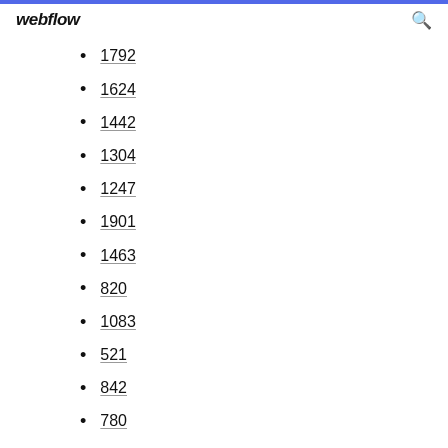webflow
1792
1624
1442
1304
1247
1901
1463
820
1083
521
842
780